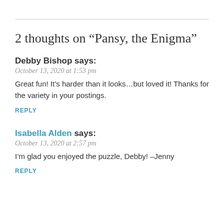2 thoughts on “Pansy, the Enigma”
Debby Bishop says:
October 13, 2020 at 1:53 pm
Great fun! It’s harder than it looks…but loved it! Thanks for the variety in your postings.
REPLY
Isabella Alden says:
October 13, 2020 at 2:57 pm
I’m glad you enjoyed the puzzle, Debby! –Jenny
REPLY